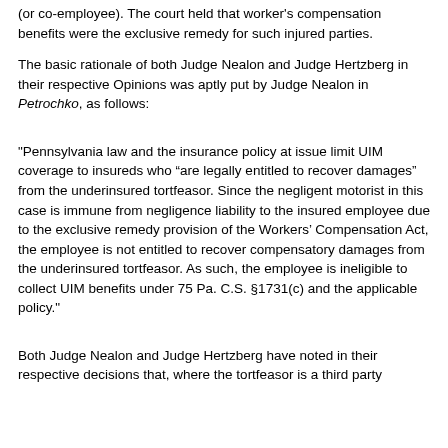(or co-employee). The court held that worker's compensation benefits were the exclusive remedy for such injured parties.
The basic rationale of both Judge Nealon and Judge Hertzberg in their respective Opinions was aptly put by Judge Nealon in Petrochko, as follows:
"Pennsylvania law and the insurance policy at issue limit UIM coverage to insureds who “are legally entitled to recover damages” from the underinsured tortfeasor. Since the negligent motorist in this case is immune from negligence liability to the insured employee due to the exclusive remedy provision of the Workers’ Compensation Act, the employee is not entitled to recover compensatory damages from the underinsured tortfeasor. As such, the employee is ineligible to collect UIM benefits under 75 Pa. C.S. §1731(c) and the applicable policy."
Both Judge Nealon and Judge Hertzberg have noted in their respective decisions that, where the tortfeasor is a third party